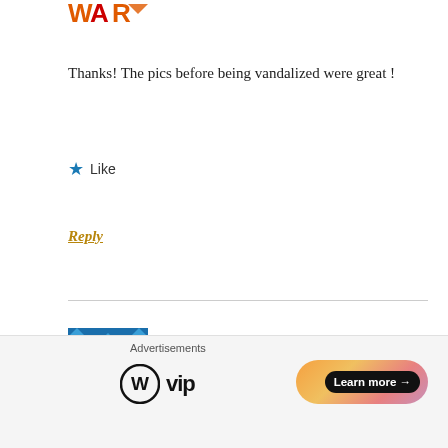[Figure (logo): Partial orange and red logo (WAR or similar) in top-left area]
Thanks! The pics before being vandalized were great !
★ Like
Reply
[Figure (illustration): Blue and white geometric/floral square avatar for Norma Byrd, ASID]
Norma Byrd, ASID
November 28, 2020 at 3:28 PM
This house had to be an amazing tribute to the tackiest, most tasteless “design” ever perpetrated on humanity,
Advertisements
[Figure (logo): WordPress VIP logo and Learn more button advertisement banner]